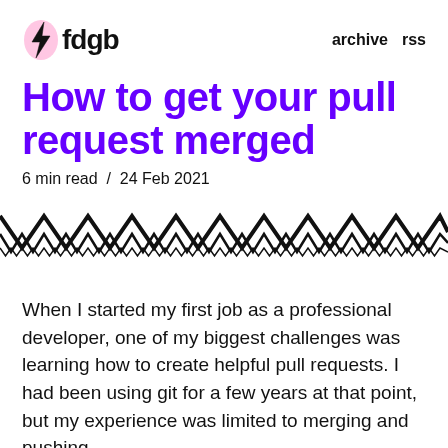fdgb   archive  rss
How to get your pull request merged
6 min read  /  24 Feb 2021
[Figure (illustration): Decorative zigzag/chevron wave pattern divider in black ink style]
When I started my first job as a professional developer, one of my biggest challenges was learning how to create helpful pull requests. I had been using git for a few years at that point, but my experience was limited to merging and pushing